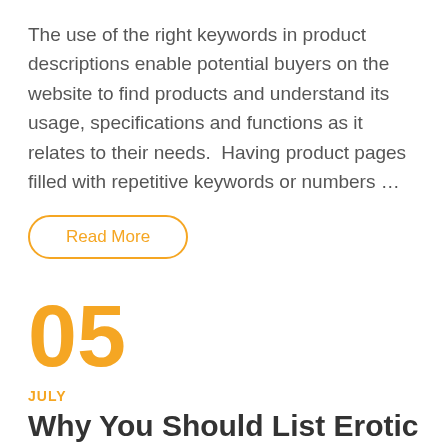The use of the right keywords in product descriptions enable potential buyers on the website to find products and understand its usage, specifications and functions as it relates to their needs.  Having product pages filled with repetitive keywords or numbers …
Read More
05
JULY
Why You Should List Erotic Items In